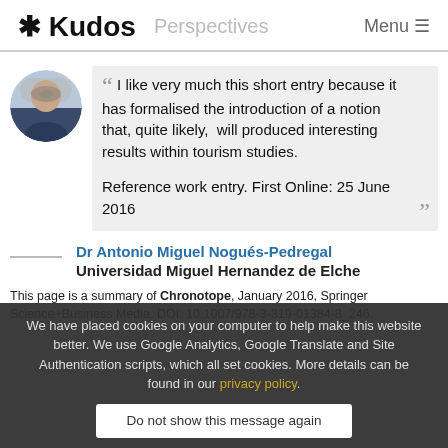* Kudos   Perspectives   Menu ≡
[Figure (photo): Circular avatar photo of a bald man wearing a dark blue sweater, outdoors.]
" I like very much this short entry because it has formalised the introduction of a notion that, quite likely,  will produced interesting results within tourism studies.

Reference work entry. First Online: 25 June 2016 "
Dr Antonio Miguel Nogués-Pedregal
Universidad Miguel Hernandez de Elche
We have placed cookies on your computer to help make this website better. We use Google Analytics, Google Translate and Site Authentication scripts, which all set cookies. More details can be found in our privacy policy.
Do not show this message again
This page is a summary of Chronotope, January 2016, Springer Science+Business Media, DOI: 10.1007/978-3-319-01384-8_246.